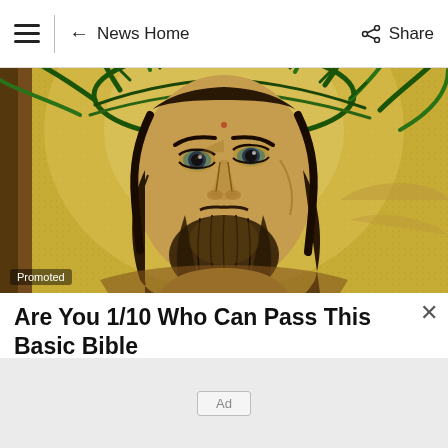≡  ← News Home    Share
[Figure (illustration): Close-up illustration of Jesus Christ wearing a crown of thorns, with a yellow/golden background, rendered in a vintage engraving style. Label 'Promoted' visible in the bottom-left corner.]
Are You 1/10 Who Can Pass This Basic Bible
Ad